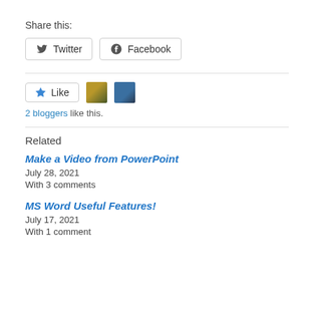Share this:
Twitter  Facebook
Like
2 bloggers like this.
Related
Make a Video from PowerPoint
July 28, 2021
With 3 comments
MS Word Useful Features!
July 17, 2021
With 1 comment